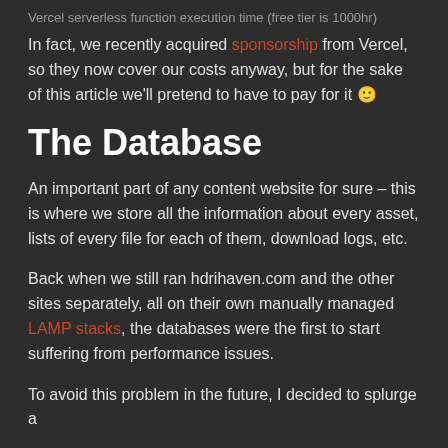Vercel serverless function execution time (free tier is 1000hr)
In fact, we recently acquired sponsorship from Vercel, so they now cover our costs anyway, but for the sake of this article we'll pretend to have to pay for it 🙂
The Database
An important part of any content website for sure – this is where we store all the information about every asset, lists of every file for each of them, download logs, etc.
Back when we still ran hdrihaven.com and the other sites separately, all on their own manually managed LAMP stacks, the databases were the first to start suffering from performance issues.
To avoid this problem in the future, I decided to splurge a